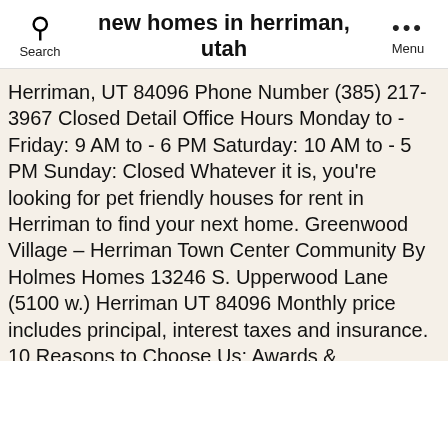new homes in herriman, utah
Herriman, UT 84096 Phone Number (385) 217-3967 Closed Detail Office Hours Monday to - Friday: 9 AM to - 6 PM Saturday: 10 AM to - 5 PM Sunday: Closed Whatever it is, you're looking for pet friendly houses for rent in Herriman to find your next home. Greenwood Village – Herriman Town Center Community By Holmes Homes 13246 S. Upperwood Lane (5100 w.) Herriman UT 84096 Monthly price includes principal, interest taxes and insurance. 10 Reasons to Choose Us; Awards & Recognitions; Career Opportunities; Testimonials; Homebuyer Tools . Click on a city to check out the latest additions to the Herriman, UT housing market and quickly find your new home with photos, location details, and property features. View listing photos, review sales history, and use our detailed real estate filters to find the perfect place. New construction homes in Utah County including Payson, Mapleton and Saratoga Springs. The Village At Rosecrest is at the center of New Homes For